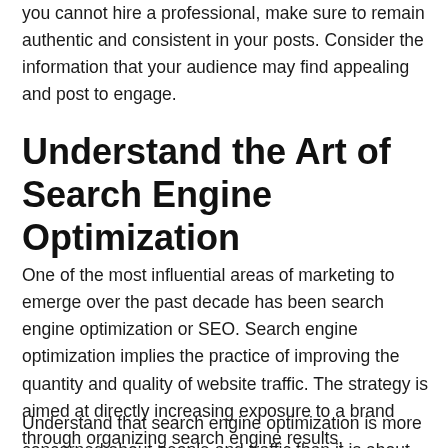you cannot hire a professional, make sure to remain authentic and consistent in your posts. Consider the information that your audience may find appealing and post to engage.
Understand the Art of Search Engine Optimization
One of the most influential areas of marketing to emerge over the past decade has been search engine optimization or SEO. Search engine optimization implies the practice of improving the quantity and quality of website traffic. The strategy is aimed at directly increasing exposure to a brand through organizing search engine results.
Understand that search engine optimization is more concerned about people and traffic than it is about search